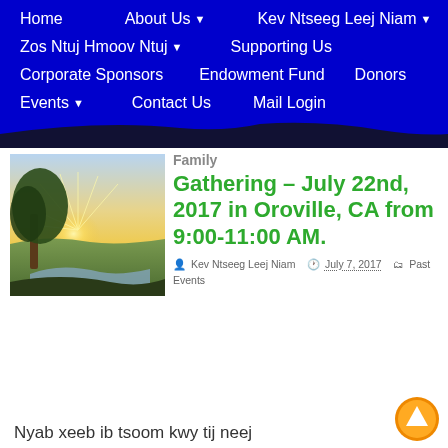Home | About Us | Kev Ntseeg Leej Niam | Zos Ntuj Hmoov Ntuj | Supporting Us | Corporate Sponsors | Endowment Fund | Donors | Events | Contact Us | Mail Login
[Figure (photo): Landscape photo showing a tree and golden sunrise or sunset with green fields and a stream]
Family Gathering – July 22nd, 2017 in Oroville, CA from 9:00-11:00 AM.
Kev Ntseeg Leej Niam  July 7, 2017  Past Events
Nyab xeeb ib tsoom kwy tij neej